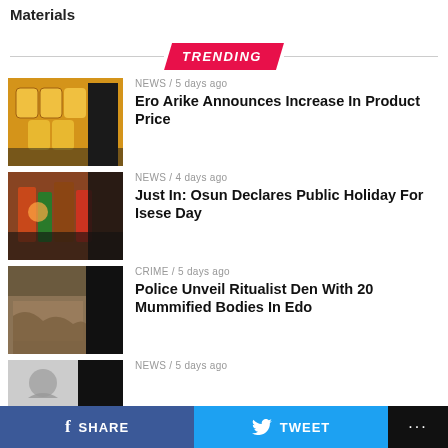Materials
TRENDING
[Figure (photo): Stacked yellow product containers on store shelf]
NEWS / 5 days ago
Ero Arike Announces Increase In Product Price
[Figure (photo): People in traditional attire at cultural event]
NEWS / 4 days ago
Just In: Osun Declares Public Holiday For Isese Day
[Figure (photo): Animal or body covered with hair in dark setting]
CRIME / 5 days ago
Police Unveil Ritualist Den With 20 Mummified Bodies In Edo
[Figure (photo): Partially visible thumbnail image]
NEWS / 5 days ago
SHARE  TWEET  ...